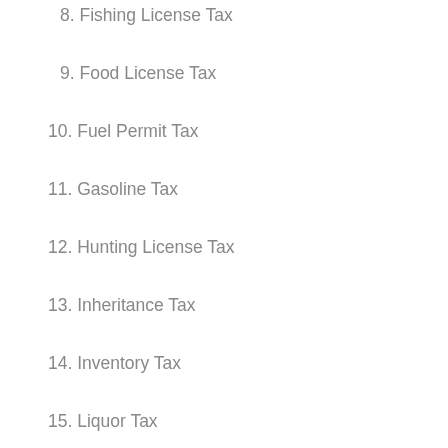8. Fishing License Tax
9. Food License Tax
10. Fuel Permit Tax
11. Gasoline Tax
12. Hunting License Tax
13. Inheritance Tax
14. Inventory Tax
15. Liquor Tax
16. Luxury Tax
17. Marriage License Tax
18. Medicare Tax
19. Property Tax
20. Real Estate Tax
21. Service Charge Tax
22. Social Security Tax
23. Road Usage Tax
24. Sales Tax
25. Recreational Vehicle Tax